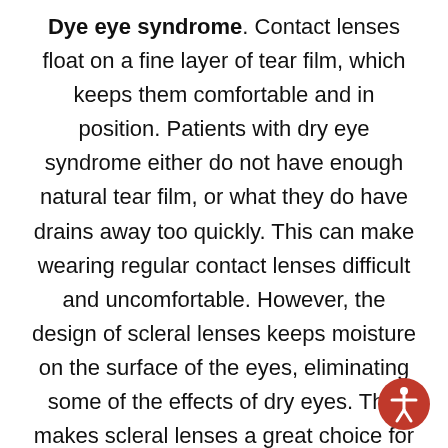Dye eye syndrome. Contact lenses float on a fine layer of tear film, which keeps them comfortable and in position. Patients with dry eye syndrome either do not have enough natural tear film, or what they do have drains away too quickly. This can make wearing regular contact lenses difficult and uncomfortable. However, the design of scleral lenses keeps moisture on the surface of the eyes, eliminating some of the effects of dry eyes. This makes scleral lenses a great choice for patients with dry eyes.